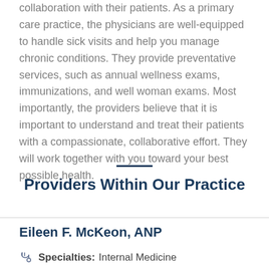collaboration with their patients. As a primary care practice, the physicians are well-equipped to handle sick visits and help you manage chronic conditions. They provide preventative services, such as annual wellness exams, immunizations, and well woman exams. Most importantly, the providers believe that it is important to understand and treat their patients with a compassionate, collaborative effort. They will work together with you toward your best possible health.
Providers Within Our Practice
Eileen F. McKeon, ANP
Specialties: Internal Medicine